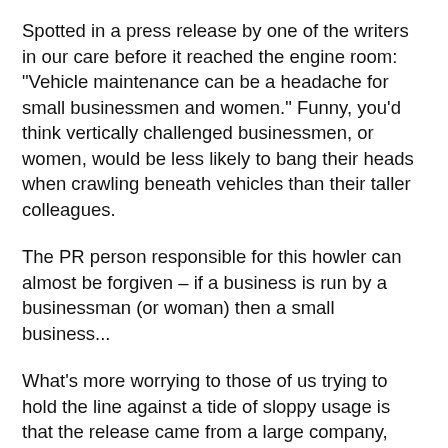Spotted in a press release by one of the writers in our care before it reached the engine room: "Vehicle maintenance can be a headache for small businessmen and women." Funny, you'd think vertically challenged businessmen, or women, would be less likely to bang their heads when crawling beneath vehicles than their taller colleagues.
The PR person responsible for this howler can almost be forgiven – if a business is run by a businessman (or woman) then a small business...
What's more worrying to those of us trying to hold the line against a tide of sloppy usage is that the release came from a large company, which presumably employs large PR people, and certainly has a large PR team. Someone should have noticed.
But spare a thought for the PR person, of whatever size, who sent in a release from an oil company which described the author of a report as the "heavy duty marketing manager". Yes, it's logical that the person in charge of marketing